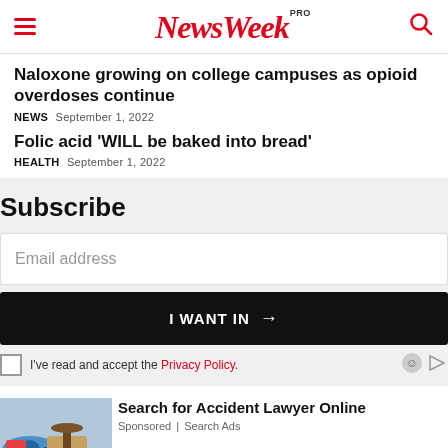NewsWeek PRO
Naloxone growing on college campuses as opioid overdoses continue
NEWS  September 1, 2022
Folic acid 'WILL be baked into bread'
HEALTH  September 1, 2022
Subscribe
Email address
I WANT IN →
I've read and accept the Privacy Policy.
[Figure (photo): Photo of toy cars and a gavel on a wooden surface, advertisement image]
Search for Accident Lawyer Online
Sponsored | Search Ads